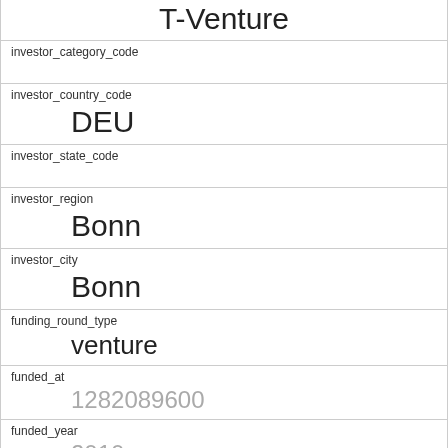T-Venture
investor_category_code
investor_country_code
DEU
investor_state_code
investor_region
Bonn
investor_city
Bonn
funding_round_type
venture
funded_at
1282089600
funded_year
2010
raised_amount_usd
gristHelper_Display2
/company/iqaworldwide